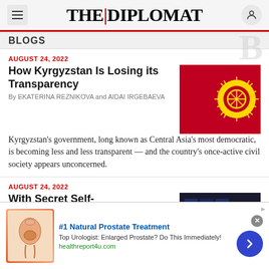THE DIPLOMAT
BLOGS
AUGUST 24, 2022
How Kyrgyzstan Is Losing its Transparency
By EKATERINA REZNIKOVA and AIDAI IRGEBAEVA
[Figure (photo): Flag of Kyrgyzstan — red background with yellow sun symbol]
Kyrgyzstan's government, long known as Central Asia's most democratic, is becoming less and less transparent — and the country's once-active civil society appears unconcerned.
AUGUST 24, 2022
With Secret Self-Appointments, Morri...
[Figure (photo): Photo of men in suits in front of Australian flags]
[Figure (other): Advertisement: #1 Natural Prostate Treatment — Top Urologist: Enlarged Prostate? Do This Immediately! healthreport4u.com]